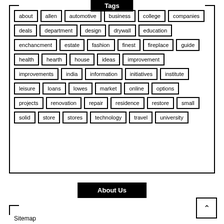Tags
about
allen
automotive
business
college
companies
deals
department
design
drywall
education
enchancment
estate
fashion
finest
fireplace
guide
health
hearth
house
ideas
improvement
improvements
india
information
initiatives
institute
leisure
loans
lowes
market
online
options
projects
renovation
repair
residence
restore
small
solid
store
stores
technology
travel
university
About Us
Sitemap